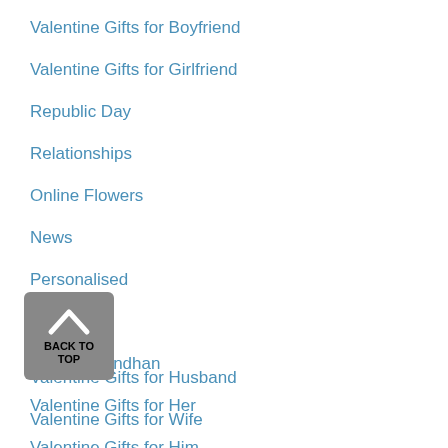Valentine Gifts for Boyfriend
Valentine Gifts for Girlfriend
Republic Day
Relationships
Online Flowers
News
Personalised
Plants
Raksha Bandhan
Valentine Gifts for Her
Valentine Gifts for Him
Valentine Gifts for Husband
Valentine Gifts for Wife
Valentine's Day
Women's Day